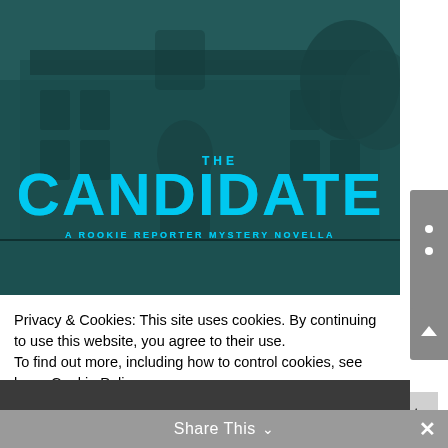[Figure (illustration): Book cover for 'The Candidate: A Rookie Reporter Mystery Novella' showing a teal-tinted photograph of a historic building with a statue in the foreground. The title 'THE CANDIDATE' is displayed in large cyan/blue lettering over the image, with subtitle 'A ROOKIE REPORTER MYSTERY NOVELLA' beneath.]
Privacy & Cookies: This site uses cookies. By continuing to use this website, you agree to their use.
To find out more, including how to control cookies, see here: Cookie Policy
Close and accept
Share This ∨
✕